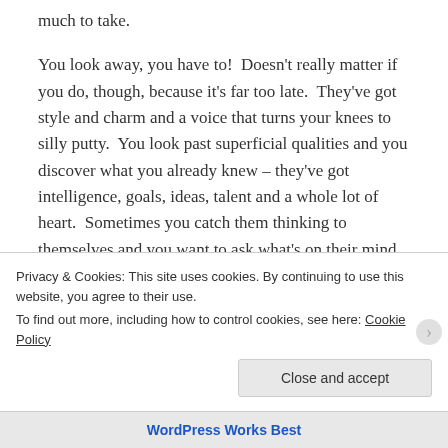much to take.
You look away, you have to!  Doesn't really matter if you do, though, because it's far too late.  They've got style and charm and a voice that turns your knees to silly putty.  You look past superficial qualities and you discover what you already knew – they've got intelligence, goals, ideas, talent and a whole lot of heart.  Sometimes you catch them thinking to themselves and you want to ask what's on their mind but you don't.  Their mind is a labyrinth which you may just lose yourself in.  No matter how hard you try, however, they…
Privacy & Cookies: This site uses cookies. By continuing to use this website, you agree to their use. To find out more, including how to control cookies, see here: Cookie Policy
WordPress Works Best